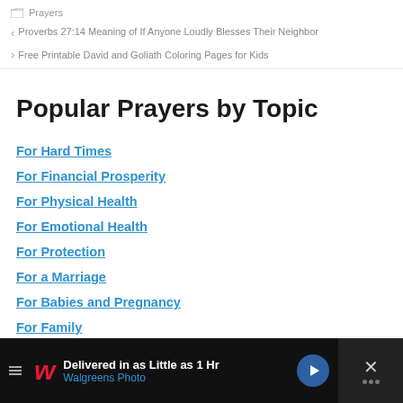Prayers
◄ Proverbs 27:14 Meaning of If Anyone Loudly Blesses Their Neighbor
► Free Printable David and Goliath Coloring Pages for Kids
Popular Prayers by Topic
For Hard Times
For Financial Prosperity
For Physical Health
For Emotional Health
For Protection
For a Marriage
For Babies and Pregnancy
For Family
For Spiritual Warfare
[Figure (other): Advertisement banner for Walgreens Photo: 'Delivered in as Little as 1 Hr' with Walgreens logo, navigation icon, and close button]